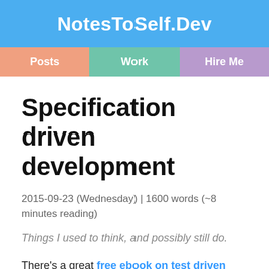NotesToSelf.Dev
Posts | Work | Hire Me
Specification driven development
2015-09-23 (Wednesday) | 1600 words (~8 minutes reading)
Things I used to think, and possibly still do.
There's a great free ebook on test driven development by Grzegorz Gałęzowski. I read